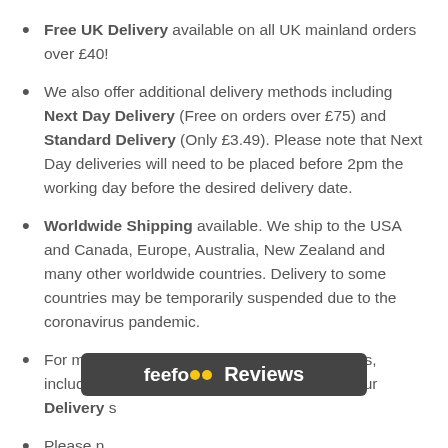Free UK Delivery available on all UK mainland orders over £40!
We also offer additional delivery methods including Next Day Delivery (Free on orders over £75) and Standard Delivery (Only £3.49). Please note that Next Day deliveries will need to be placed before 2pm the working day before the desired delivery date.
Worldwide Shipping available. We ship to the USA and Canada, Europe, Australia, New Zealand and many other worldwide countries. Delivery to some countries may be temporarily suspended due to the coronavirus pandemic.
For more info on all shipping methods and rates, including International Delivery, please see our Delivery s…
Please n… …amples are…